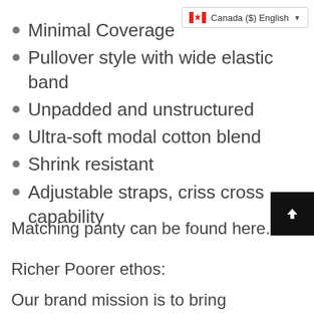[Figure (other): Canada locale selector badge with Canadian flag, text 'Canada ($) English' and dropdown arrow]
Minimal Coverage
Pullover style with wide elastic band
Unpadded and unstructured
Ultra-soft modal cotton blend
Shrink resistant
Adjustable straps, criss cross capability
Matching panty can be found here.
Richer Poorer ethos:
Our brand mission is to bring customers confidence in comfort wherever they are. We're